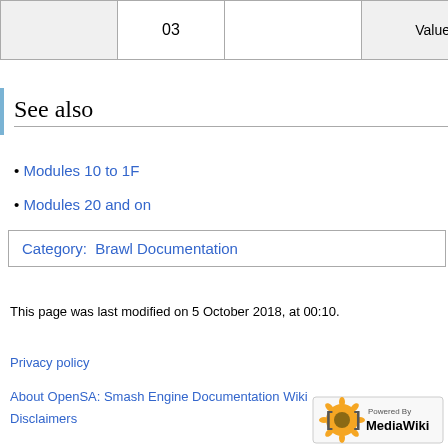|  | 03 |  | Value | U… |
| --- | --- | --- | --- | --- |
|  | 03 |  | Value | U… |
See also
Modules 10 to 1F
Modules 20 and on
Category:  Brawl Documentation
This page was last modified on 5 October 2018, at 00:10.
Privacy policy
About OpenSA: Smash Engine Documentation Wiki
Disclaimers
[Figure (logo): Powered by MediaWiki logo]